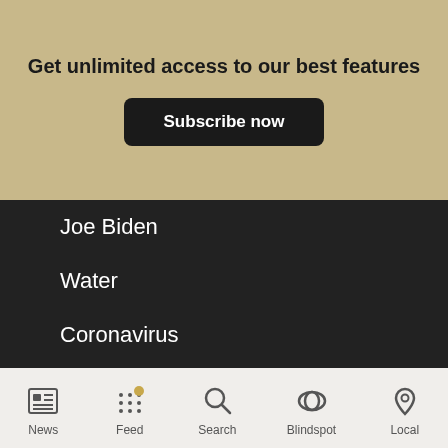Get unlimited access to our best features
Subscribe now
Joe Biden
Water
Coronavirus
Donald Trump
United States
Media Bias Rating System
Privacy Policy
About Us
Terms and Conditions
News | Feed | Search | Blindspot | Local